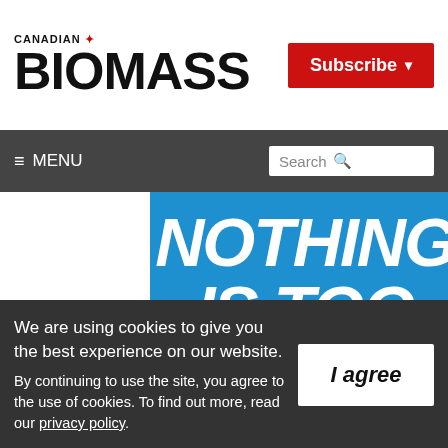CANADIAN BIOMASS
Subscribe
≡ MENU  Search
[Figure (illustration): Advertisement for Alps Welding Ltd. on blue background with large white bold italic text 'NOTHING IS TOO BIG', a red 'LEARN MORE' button, and Alps Welding Ltd. logo with mountain graphic and text 'since 1974'.]
We are using cookies to give you the best experience on our website.
By continuing to use the site, you agree to the use of cookies.
To find out more, read our privacy policy.
I agree